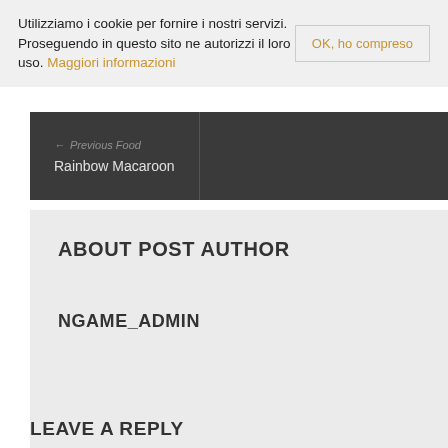Utilizziamo i cookie per fornire i nostri servizi. Proseguendo in questo sito ne autorizzi il loro uso. Maggiori informazioni
OK, ho compreso
← Previous Food
Rainbow Macaroon
ABOUT POST AUTHOR
NGAME_ADMIN
LEAVE A REPLY